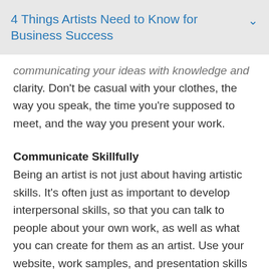4 Things Artists Need to Know for Business Success
communicating your ideas with knowledge and clarity. Don't be casual with your clothes, the way you speak, the time you're supposed to meet, and the way you present your work.
Communicate Skillfully
Being an artist is not just about having artistic skills. It's often just as important to develop interpersonal skills, so that you can talk to people about your own work, as well as what you can create for them as an artist. Use your website, work samples, and presentation skills to discuss your plans and your artistic strategies.